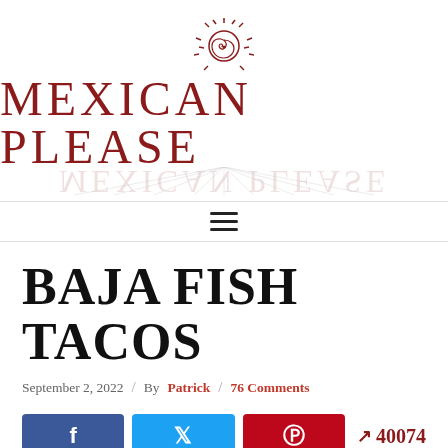[Figure (logo): Mexican Please website logo with decorative sun illustration above the text 'MEXICAN PLEASE' in dark red, with a faded reflection below]
BAJA FISH TACOS
September 2, 2022 / By Patrick / 76 Comments
[Figure (other): Social sharing buttons: Facebook (blue), Twitter (light blue), Pinterest (red), and share count showing 40074]